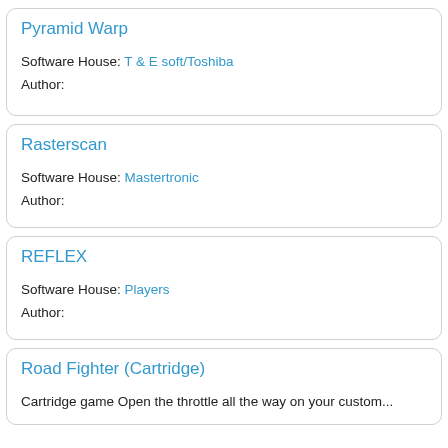Pyramid Warp
Software House: T & E soft/Toshiba
Author:
Rasterscan
Software House: Mastertronic
Author:
REFLEX
Software House: Players
Author:
Road Fighter (Cartridge)
Cartridge game Open the throttle all the way on your custom...